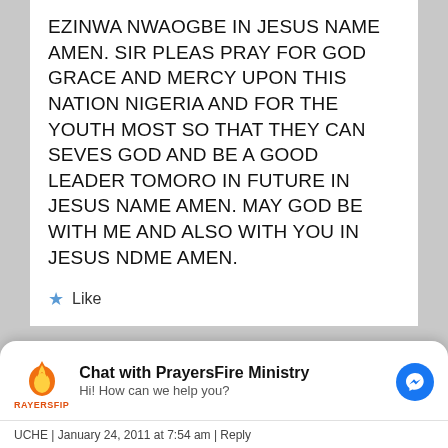EZINWA NWAOGBE IN JESUS NAME AMEN. SIR PLEAS PRAY FOR GOD GRACE AND MERCY UPON THIS NATION NIGERIA AND FOR THE YOUTH MOST SO THAT THEY CAN SEVES GOD AND BE A GOOD LEADER TOMORO IN FUTURE IN JESUS NAME AMEN. MAY GOD BE WITH ME AND ALSO WITH YOU IN JESUS NDME AMEN.
★ Like
[Figure (screenshot): Chat widget for PrayersFire Ministry with messenger icon and text 'Hi! How can we help you?']
UCHE | January 24, 2011 at 7:54 am | Reply